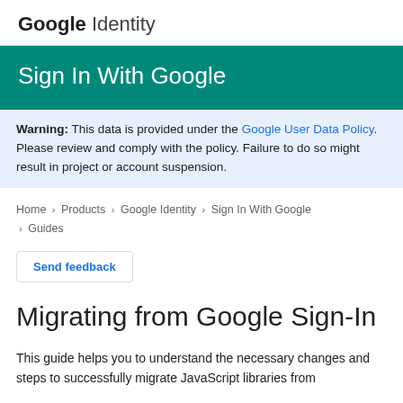Google Identity
Sign In With Google
Warning: This data is provided under the Google User Data Policy. Please review and comply with the policy. Failure to do so might result in project or account suspension.
Home > Products > Google Identity > Sign In With Google > Guides
Send feedback
Migrating from Google Sign-In
This guide helps you to understand the necessary changes and steps to successfully migrate JavaScript libraries from